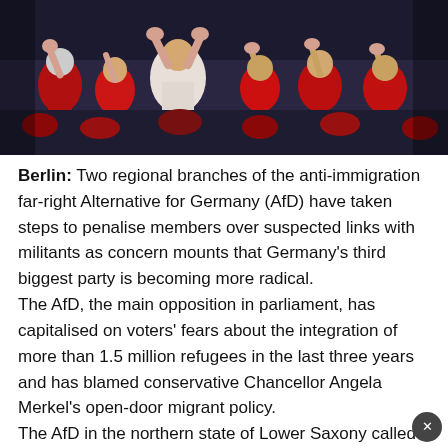[Figure (photo): Crowd of people at a rally or event, many wearing red and white clothing, raising hands, with a dark night-time background]
Berlin: Two regional branches of the anti-immigration far-right Alternative for Germany (AfD) have taken steps to penalise members over suspected links with militants as concern mounts that Germany's third biggest party is becoming more radical.
The AfD, the main opposition in parliament, has capitalised on voters' fears about the integration of more than 1.5 million refugees in the last three years and has blamed conservative Chancellor Angela Merkel's open-door migrant policy.
The AfD in the northern state of Lower Saxony called on three members to leave the party or face exclusion after allegations that they visited a neo-Nazi festival in Saxony